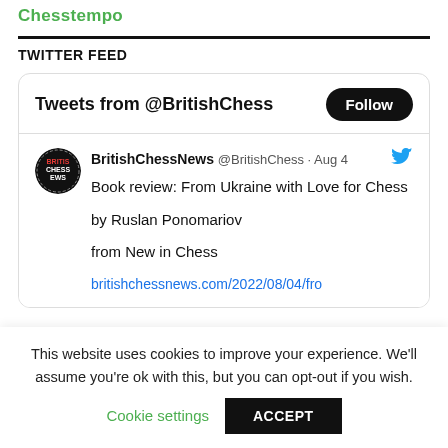Chesstempo
TWITTER FEED
[Figure (screenshot): Twitter widget showing 'Tweets from @BritishChess' with a Follow button, and a tweet from BritishChessNews @BritishChess dated Aug 4 with text: Book review: From Ukraine with Love for Chess by Ruslan Ponomariov from New in Chess, with a partial link britishchessnews.com/2022/08/04/fro]
This website uses cookies to improve your experience. We'll assume you're ok with this, but you can opt-out if you wish.
Cookie settings   ACCEPT